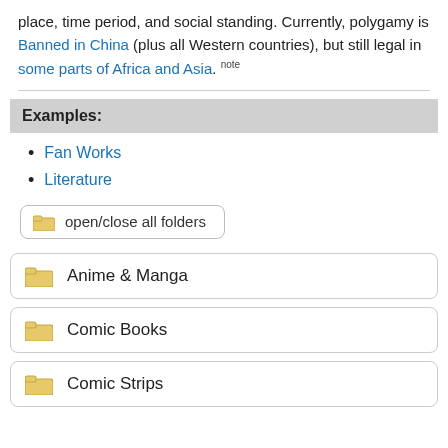place, time period, and social standing. Currently, polygamy is Banned in China (plus all Western countries), but still legal in some parts of Africa and Asia. note
Examples:
Fan Works
Literature
open/close all folders
Anime & Manga
Comic Books
Comic Strips